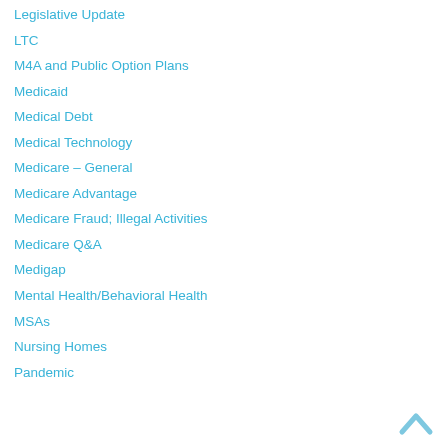Legislative Update
LTC
M4A and Public Option Plans
Medicaid
Medical Debt
Medical Technology
Medicare – General
Medicare Advantage
Medicare Fraud; Illegal Activities
Medicare Q&A
Medigap
Mental Health/Behavioral Health
MSAs
Nursing Homes
Pandemic
[Figure (illustration): Back to top arrow icon (upward chevron) in light blue]